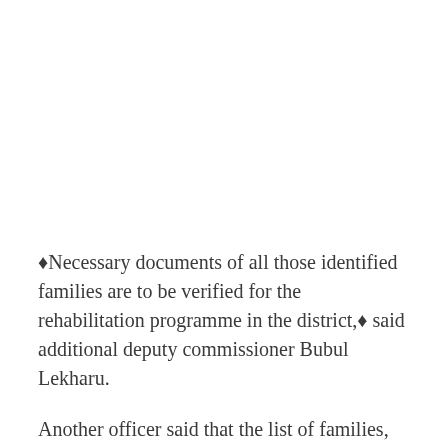❖Necessary documents of all those identified families are to be verified for the rehabilitation programme in the district,❖ said additional deputy commissioner Bubul Lekharu.
Another officer said that the list of families, which have actually lost their lands and belongings due to erosion by